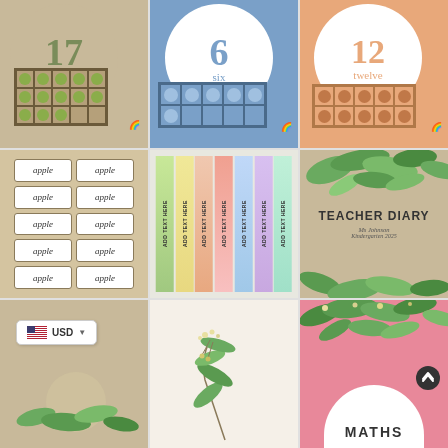[Figure (illustration): Number card showing '17' and 'seventeen' with green ten-frame dots on tan background]
[Figure (illustration): Number card showing '6' and 'six' with blue ten-frame dots on blue background]
[Figure (illustration): Number card showing '12' and 'twelve' with orange ten-frame dots on peach background]
[Figure (illustration): Word cards grid showing 'apple' repeated in bordered boxes on tan background]
[Figure (illustration): Colorful vertical book spines with 'ADD TEXT HERE' labels and botanical leaf patterns]
[Figure (illustration): Teacher Diary cover on kraft paper with eucalyptus leaves, 'Ms Johnson Kindergarten 2025']
[Figure (illustration): USD currency selector badge with US flag on tan/eucalyptus background]
[Figure (illustration): Botanical illustration of eucalyptus leaves and flowers on cream background]
[Figure (illustration): Pink background with green leaves and 'MATHS' text in white circle at bottom, scroll button]